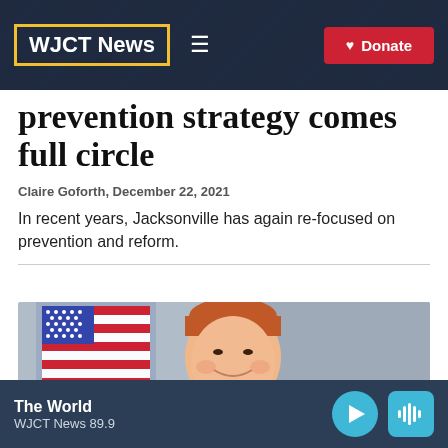WJCT News
prevention strategy comes full circle
Claire Goforth, December 22, 2021
In recent years, Jacksonville has again re-focused on prevention and reform.
[Figure (photo): Photo of a man with red hair smiling, with an American flag in the background]
The World
WJCT News 89.9